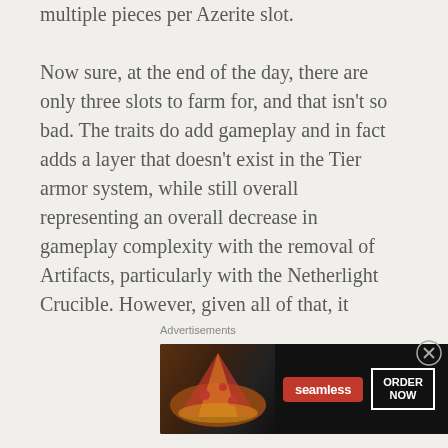multiple pieces per Azerite slot.

Now sure, at the end of the day, there are only three slots to farm for, and that isn't so bad. The traits do add gameplay and in fact adds a layer that doesn't exist in the Tier armor system, while still overall representing an overall decrease in gameplay complexity with the removal of Artifacts, particularly with the Netherlight Crucible. However, given all of that, it seems a baffling design choice – if I could set an Azerite trait per spec that would change like I can for
Advertisements
[Figure (other): Seamless food delivery advertisement banner with pizza image on left, red Seamless logo in center, and ORDER NOW button on right, on dark background]